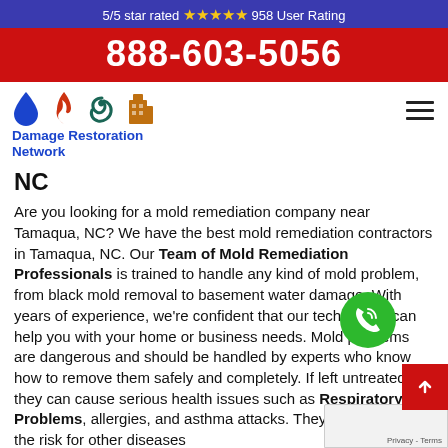5/5 star rated ⭐⭐⭐⭐⭐ 958 User Rating
888-603-5056
[Figure (logo): Damage Restoration Network logo with water drop, flame, hurricane, and building icons]
NC
Are you looking for a mold remediation company near Tamaqua, NC? We have the best mold remediation contractors in Tamaqua, NC. Our Team of Mold Remediation Professionals is trained to handle any kind of mold problem, from black mold removal to basement water damage. With years of experience, we're confident that our technicians can help you with your home or business needs. Mold problems are dangerous and should be handled by experts who know how to remove them safely and completely. If left untreated, they can cause serious health issues such as Respiratory Problems, allergies, and asthma attacks. They also increase the risk for other diseases